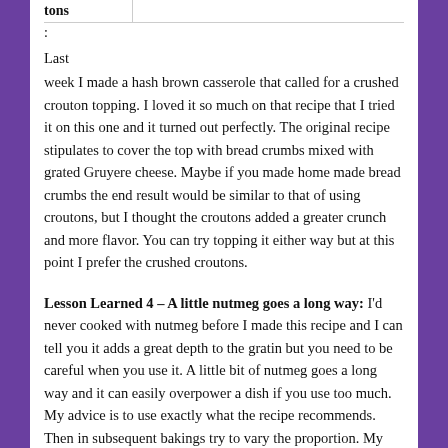| tons |  |
| --- | --- |
| : |  |
| Last |  |
Last week I made a hash brown casserole that called for a crushed crouton topping. I loved it so much on that recipe that I tried it on this one and it turned out perfectly. The original recipe stipulates to cover the top with bread crumbs mixed with grated Gruyere cheese. Maybe if you made home made bread crumbs the end result would be similar to that of using croutons, but I thought the croutons added a greater crunch and more flavor. You can try topping it either way but at this point I prefer the crushed croutons.
Lesson Learned 4 – A little nutmeg goes a long way: I'd never cooked with nutmeg before I made this recipe and I can tell you it adds a great depth to the gratin but you need to be careful when you use it. A little bit of nutmeg goes a long way and it can easily overpower a dish if you use too much. My advice is to use exactly what the recipe recommends. Then in subsequent bakings try to vary the proportion. My guess is that if you choose to vary it, it will be for a lesser rather than a greater amount.